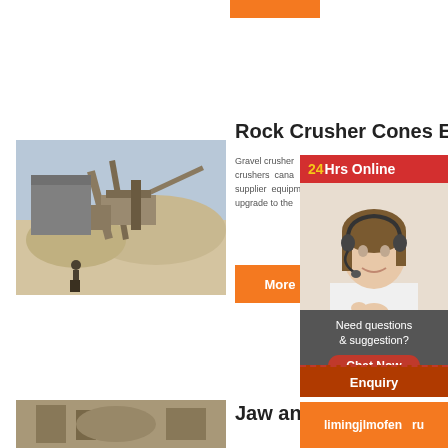[Figure (other): Orange button/banner at top center]
[Figure (photo): Outdoor photograph of a rock crusher industrial site with machinery, conveyor belts, and a worker in foreground against a hazy sky]
Rock Crusher Cones Ed
Gravel crusher ... on crushers cana... on supplier equipm... me upgrade to the ... ora
[Figure (other): 24Hrs Online red banner with yellow and white text]
[Figure (photo): Customer service representative woman with headset smiling]
More
Need questions & suggestion?
Chat Now
Enquiry
Jaw and C
limingjlmofen ru
[Figure (photo): Bottom left partial photo of machinery]